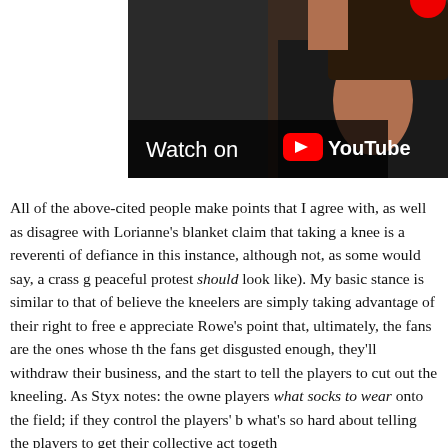[Figure (screenshot): YouTube video thumbnail showing a person in an open leather jacket with text overlay 'Watch on YouTube' with YouTube logo]
All of the above-cited people make points that I agree with, as well as disagree with Lorianne's blanket claim that taking a knee is a reverenti of defiance in this instance, although not, as some would say, a crass g peaceful protest should look like). My basic stance is similar to that of believe the kneelers are simply taking advantage of their right to free e appreciate Rowe's point that, ultimately, the fans are the ones whose th the fans get disgusted enough, they'll withdraw their business, and the start to tell the players to cut out the kneeling. As Styx notes: the owne players what socks to wear onto the field; if they control the players' b what's so hard about telling the players to get their collective act togeth